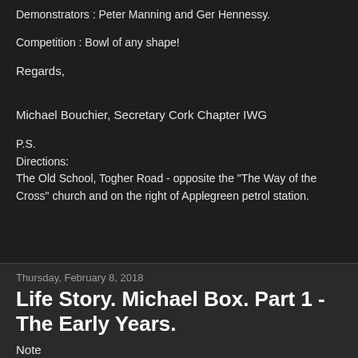Demonstrators : Peter Manning and Ger Hennessy.
Competition : Bowl of any shape!
Regards,
Michael Bouchier, Secretary Cork Chapter IWG
P.S.
Directions:
The Old School, Togher Road - opposite the "The Way of the Cross" church and on the right of Applegreen petrol station.
Thursday, February 8, 2018
Life Story. Michael Box. Part 1 - The Early Years.
Note